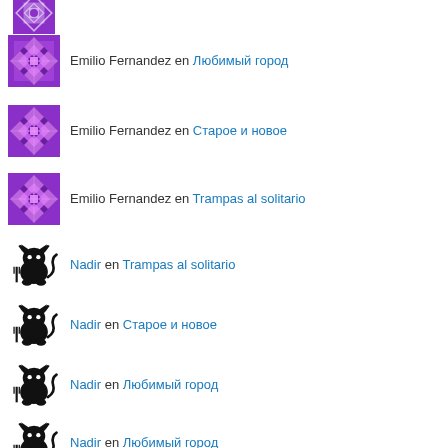Emilio Fernandez en Любимый город
Emilio Fernandez en Старое и новое
Emilio Fernandez en Trampas al solitario
Nadir en Trampas al solitario
Nadir en Старое и новое
Nadir en Любимый город
Nadir en Любимый город
Nadir en Любимый город